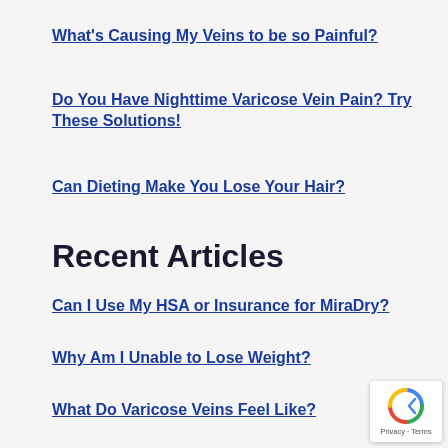What's Causing My Veins to be so Painful?
Do You Have Nighttime Varicose Vein Pain? Try These Solutions!
Can Dieting Make You Lose Your Hair?
Recent Articles
Can I Use My HSA or Insurance for MiraDry?
Why Am I Unable to Lose Weight?
What Do Varicose Veins Feel Like?